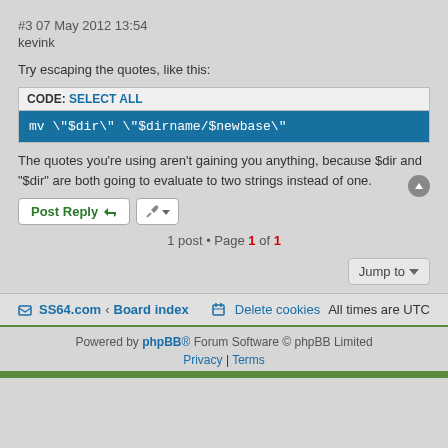#3 07 May 2012 13:54
kevink
Try escaping the quotes, like this:
CODE: SELECT ALL
mv \"$dir\" \"$dirname/$newbase\"
The quotes you're using aren't gaining you anything, because $dir and "$dir" are both going to evaluate to two strings instead of one.
Post Reply
1 post • Page 1 of 1
Jump to
SS64.com  ‹  Board index    Delete cookies   All times are UTC
Powered by phpBB® Forum Software © phpBB Limited
Privacy | Terms